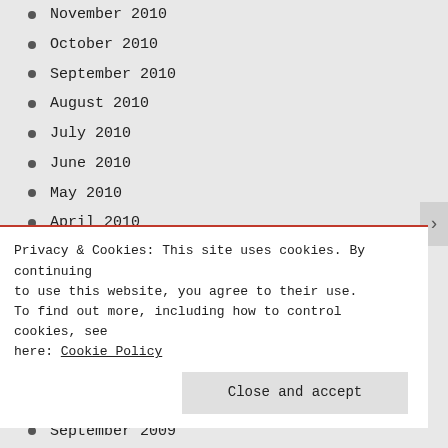November 2010
October 2010
September 2010
August 2010
July 2010
June 2010
May 2010
April 2010
March 2010
February 2010
January 2010
December 2009
November 2009
October 2009
September 2009
Privacy & Cookies: This site uses cookies. By continuing to use this website, you agree to their use. To find out more, including how to control cookies, see here: Cookie Policy